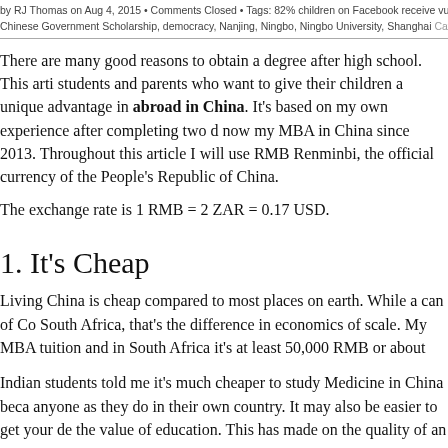by RJ Thomas on Aug 4, 2015 • Comments Closed • Tags: 82% children on Facebook receive vulgar
Chinese Government Scholarship, democracy, Nanjing, Ningbo, Ningbo University, Shanghai Category
There are many good reasons to obtain a degree after high school. This article is aimed at students and parents who want to give their children a unique advantage in studying abroad in China. It's based on my own experience after completing two degrees and now my MBA in China since 2013. Throughout this article I will use RMB which stands for Renminbi, the official currency of the People's Republic of China.
The exchange rate is 1 RMB = 2 ZAR = 0.17 USD.
1. It's Cheap
Living China is cheap compared to most places on earth. While a can of Co... South Africa, that's the difference in economics of scale. My MBA tuition and in South Africa it's at least 50,000 RMB or about ZAR 100,000 per an
Indian students told me it's much cheaper to study Medicine in China beca... anyone as they do in their own country. It may also be easier to get your de... the value of education. This has made on the quality of an on education.